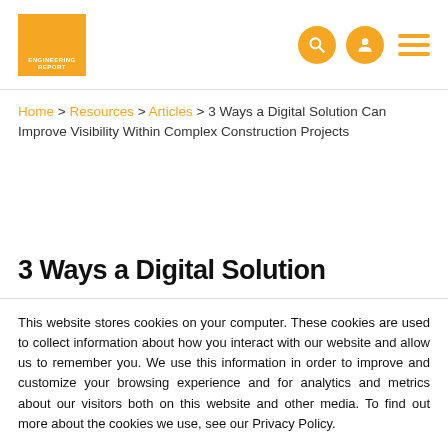Engineering Report – logo and navigation icons
Home > Resources > Articles > 3 Ways a Digital Solution Can Improve Visibility Within Complex Construction Projects
3 Ways a Digital Solution
This website stores cookies on your computer. These cookies are used to collect information about how you interact with our website and allow us to remember you. We use this information in order to improve and customize your browsing experience and for analytics and metrics about our visitors both on this website and other media. To find out more about the cookies we use, see our Privacy Policy.
If you decline, your information won't be tracked when you visit this website. A single cookie will be used in your browser to remember your preference not to be tracked.